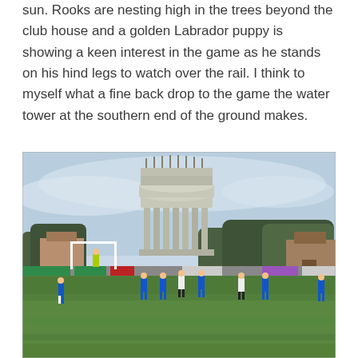sun.  Rooks are nesting high in the trees beyond the club house and a golden Labrador puppy is showing a keen interest in the game as he stands on his hind legs to watch over the rail.  I think to myself what a fine back drop to the game  the water tower at the  southern end of the ground makes.
[Figure (photo): A football match in progress on a green pitch with players in blue and white kits. A large ornate cylindrical water tower with classical columns dominates the background, surrounded by bare winter trees and buildings. The sky is overcast and pale grey-blue.]